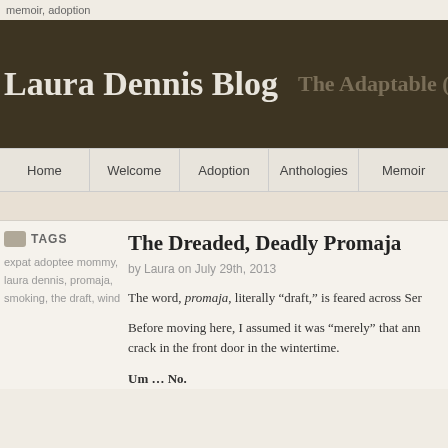memoir, adoption
Laura Dennis Blog
The Adaptable (Adopt
Home | Welcome | Adoption | Anthologies | Memoir
TAGS
expat adoptee mommy, laura dennis, promaja, smoking, the draft, wind
The Dreaded, Deadly Promaja
by Laura on July 29th, 2013
The word, promaja, literally “draft,” is feared across Ser
Before moving here, I assumed it was “merely” that ann crack in the front door in the wintertime.
Um … No.